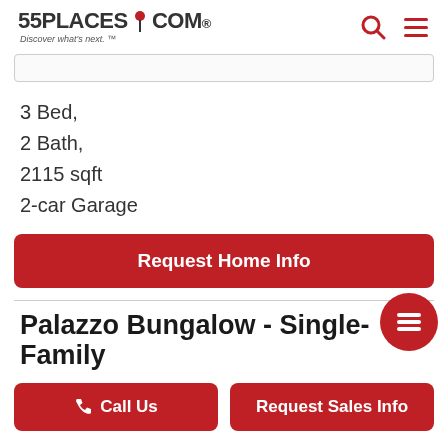55PLACES.COM Discover what's next.
3 Bed,
2 Bath,
2115 sqft
2-car Garage
Request Home Info
Palazzo Bungalow - Single-Family
Call Us   Request Sales Info